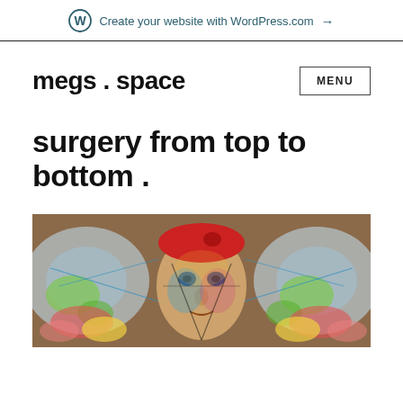Create your website with WordPress.com →
megs . space
surgery from top to bottom .
[Figure (photo): Colorful psychedelic street art mural of a person's face wearing a red beret, with mirrored/kaleidoscope effect, on a brick wall background]